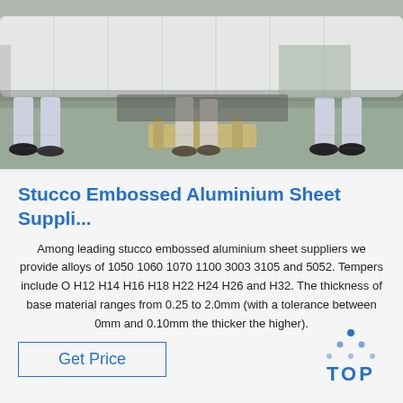[Figure (photo): Workers carrying a large wrapped aluminium sheet roll in an industrial factory setting. Workers' legs and feet visible, concrete floor, wooden pallet in center.]
Stucco Embossed Aluminium Sheet Suppli...
Among leading stucco embossed aluminium sheet suppliers we provide alloys of 1050 1060 1070 1100 3003 3105 and 5052. Tempers include O H12 H14 H16 H18 H22 H24 H26 and H32. The thickness of base material ranges from 0.25 to 2.0mm (with a tolerance between 0mm and 0.10mm the thicker the higher).
[Figure (logo): TOP logo with blue dots arranged in triangle pattern above the text TOP in blue bold letters]
Get Price